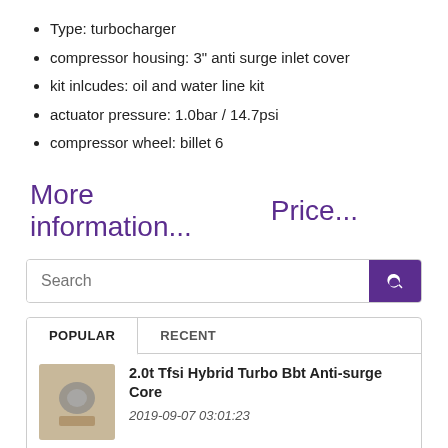Type: turbocharger
compressor housing: 3" anti surge inlet cover
kit inlcudes: oil and water line kit
actuator pressure: 1.0bar / 14.7psi
compressor wheel: billet 6
More information...   Price...
[Figure (screenshot): Search bar with purple search button]
[Figure (screenshot): Popular/Recent tabs section with two items: 2.0t Tfsi Hybrid Turbo Bbt Anti-surge Core (2019-09-07 03:01:23) and Power Spirit Gtx3076r Gtx Ball Bearing Antisurge]